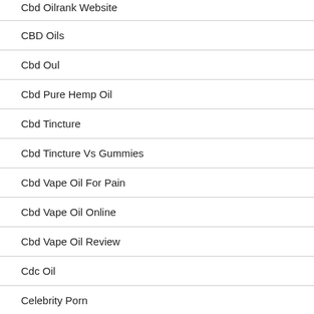Cbd Oilrank Website
CBD Oils
Cbd Oul
Cbd Pure Hemp Oil
Cbd Tincture
Cbd Tincture Vs Gummies
Cbd Vape Oil For Pain
Cbd Vape Oil Online
Cbd Vape Oil Review
Cdc Oil
Celebrity Porn
CharmDate Online